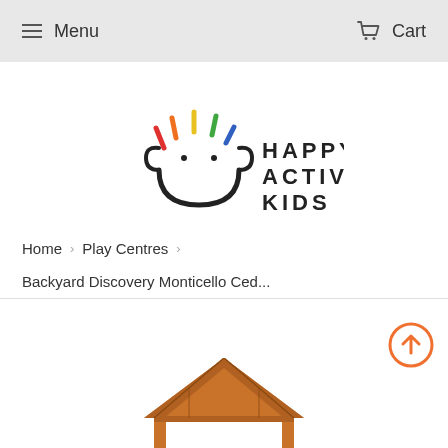Menu   Cart
[Figure (logo): Happy Active Kids logo — smiley face with colorful spikes above, text HAPPY ACTIVE KIDS to the right]
Home  >  Play Centres  >
Backyard Discovery Monticello Ced...
[Figure (photo): Partial view of a wooden cedar play centre / backyard playhouse roof structure]